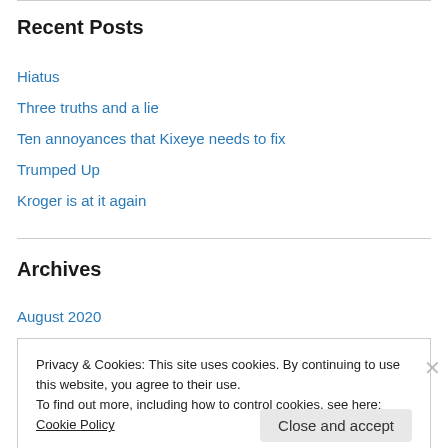Recent Posts
Hiatus
Three truths and a lie
Ten annoyances that Kixeye needs to fix
Trumped Up
Kroger is at it again
Archives
August 2020
May 2020
Privacy & Cookies: This site uses cookies. By continuing to use this website, you agree to their use.
To find out more, including how to control cookies, see here: Cookie Policy
Close and accept